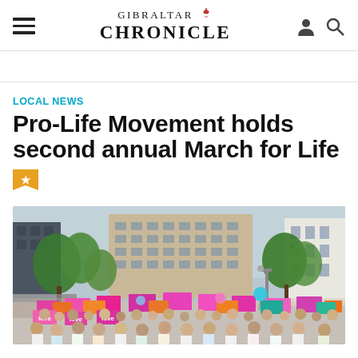GIBRALTAR CHRONICLE
LOCAL NEWS
Pro-Life Movement holds second annual March for Life
[Figure (photo): Large crowd of people marching with colourful signs (pink, orange, magenta, teal) reading 'love' and other messages, with trees and city buildings in the background under an overcast sky.]